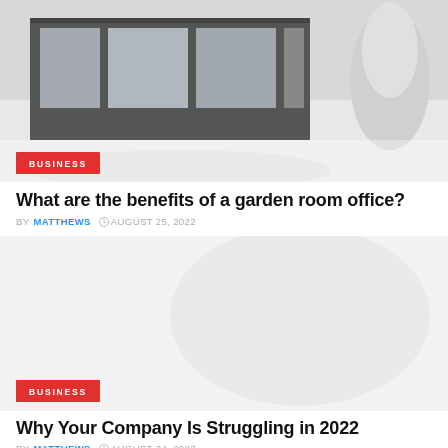[Figure (photo): Exterior photo of a garden room office building with snowy surroundings, dark frame structure, glass panels]
BUSINESS
What are the benefits of a garden room office?
BY MATTHEWS  AUGUST 25, 2022
[Figure (photo): Light gray/white placeholder image for a second article]
BUSINESS
Why Your Company Is Struggling in 2022
BY MATTHEWS  AUGUST 24, 2022